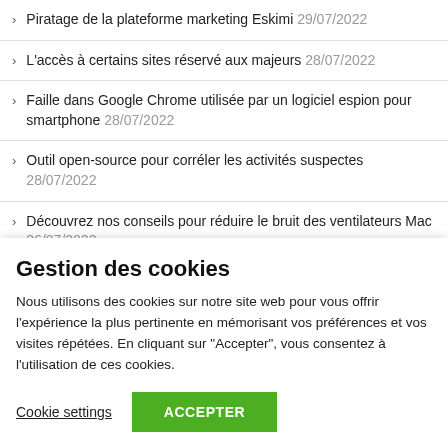Piratage de la plateforme marketing Eskimi 29/07/2022
L'accès à certains sites réservé aux majeurs 28/07/2022
Faille dans Google Chrome utilisée par un logiciel espion pour smartphone 28/07/2022
Outil open-source pour corréler les activités suspectes 28/07/2022
Découvrez nos conseils pour réduire le bruit des ventilateurs Mac 26/07/2022
Piratage de la police de Shanghai 23/07/2022
Gestion des cookies
Nous utilisons des cookies sur notre site web pour vous offrir l'expérience la plus pertinente en mémorisant vos préférences et vos visites répétées. En cliquant sur "Accepter", vous consentez à l'utilisation de ces cookies.
Cookie settings | ACCEPTER